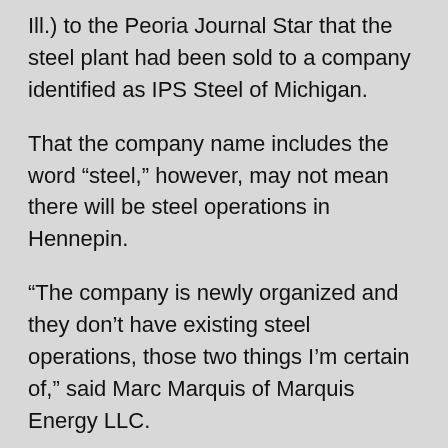Ill.) to the Peoria Journal Star that the steel plant had been sold to a company identified as IPS Steel of Michigan.
That the company name includes the word “steel,” however, may not mean there will be steel operations in Hennepin.
“The company is newly organized and they don’t have existing steel operations, those two things I’m certain of,” said Marc Marquis of Marquis Energy LLC.
“The Journal-Star article read like it would be reopened as a steel mill. I don’t believe that to be the case. I’ve talked to a number of people with different levels of involvement. It is my expectation that they are going to scrap the copper and the steel and raze the building.”
Hennepin Mayor Coleman said recent reports of the sale of the mill, which housed Arcelor Mittal, LTV and J&L steel operations for half a century, are correct. However, most